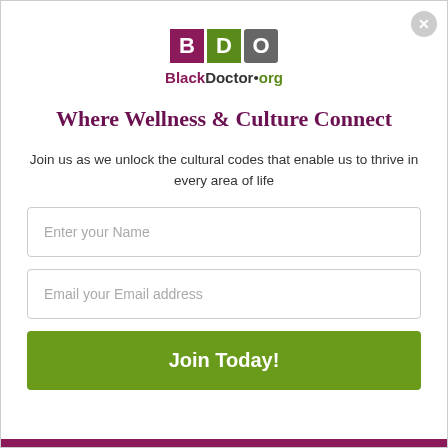[Figure (logo): BlackDoctor.org logo with BDO letter boxes in purple, green, and gray, with tagline text below]
Where Wellness & Culture Connect
Join us as we unlock the cultural codes that enable us to thrive in every area of life
Enter your Name
Email your Email address
Join Today!